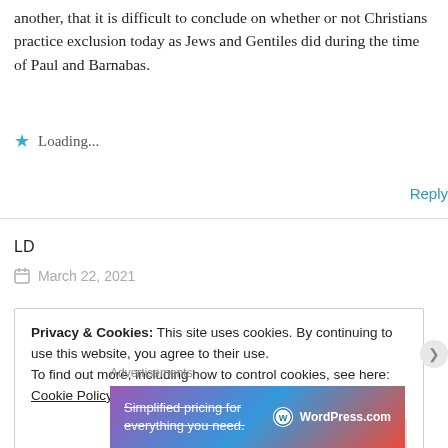another, that it is difficult to conclude on whether or not Christians practice exclusion today as Jews and Gentiles did during the time of Paul and Barnabas.
Loading...
Reply
LD
March 22, 2021
Privacy & Cookies: This site uses cookies. By continuing to use this website, you agree to their use.
To find out more, including how to control cookies, see here: Cookie Policy
Close and accept
Advertisements
[Figure (illustration): WordPress.com advertisement banner with gradient purple-blue-red background, text 'Simplified pricing for everything you need.' with WordPress.com logo]